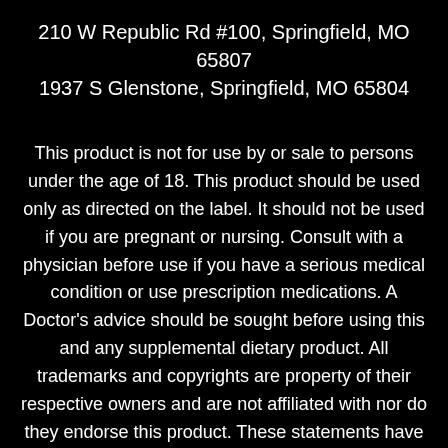210 W Republic Rd #100, Springfield, MO 65807
1937 S Glenstone, Springfield, MO 65804
This product is not for use by or sale to persons under the age of 18. This product should be used only as directed on the label. It should not be used if you are pregnant or nursing. Consult with a physician before use if you have a serious medical condition or use prescription medications. A Doctor's advice should be sought before using this and any supplemental dietary product. All trademarks and copyrights are property of their respective owners and are not affiliated with nor do they endorse this product. These statements have not been evaluated by the FDA. This product is not intended to diagnose, treat, cure or prevent any disease. By using this site you agree to follow the Privacy Policy and all Terms & Conditions printed on